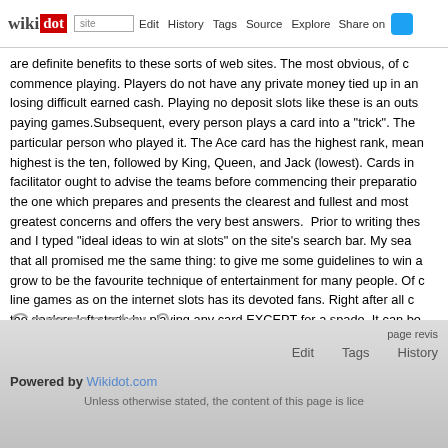wikidot | site | Edit | History | Tags | Source | Explore | Share on
are definite benefits to these sorts of web sites. The most obvious, of commence playing. Players do not have any private money tied up in a losing difficult earned cash. Playing no deposit slots like these is an outs paying games.Subsequent, every person plays a card into a "trick". The particular person who played it. The Ace card has the highest rank, mean highest is the ten, followed by King, Queen, and Jack (lowest). Cards in facilitator ought to advise the teams before commencing their preparatio the one which prepares and presents the clearest and fullest and most greatest concerns and offers the very best answers. Prior to writing thes and I typed "ideal ideas to win at slots" on the site's search bar. My sea that all promised me the same thing: to give me some guidelines to win grow to be the favourite technique of entertainment for many people. Of c line games as on the internet slots has its devoted fans. Right after all c the dealers left starts by playing any card EXCEPT for a spade. It can be
Comments: 0
Add a New Comment
page revis
Edit   Tags   History
Powered by Wikidot.com
Unless otherwise stated, the content of this page is lice